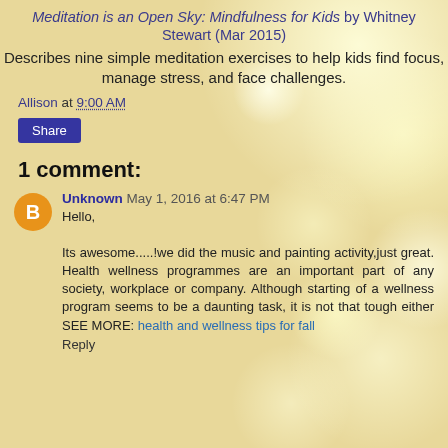Meditation is an Open Sky: Mindfulness for Kids by Whitney Stewart (Mar 2015)
Describes nine simple meditation exercises to help kids find focus, manage stress, and face challenges.
Allison at 9:00 AM
Share
1 comment:
Unknown May 1, 2016 at 6:47 PM
Hello,

Its awesome.....!we did the music and painting activity,just great. Health wellness programmes are an important part of any society, workplace or company. Although starting of a wellness program seems to be a daunting task, it is not that tough either SEE MORE: health and wellness tips for fall